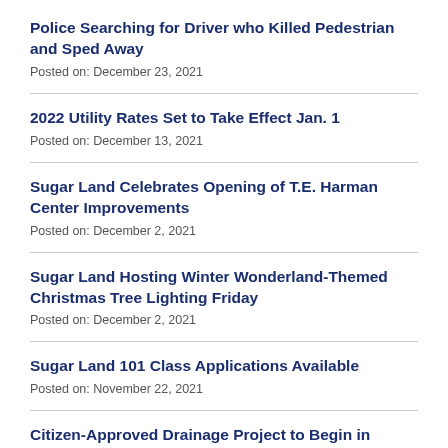Police Searching for Driver who Killed Pedestrian and Sped Away
Posted on: December 23, 2021
2022 Utility Rates Set to Take Effect Jan. 1
Posted on: December 13, 2021
Sugar Land Celebrates Opening of T.E. Harman Center Improvements
Posted on: December 2, 2021
Sugar Land Hosting Winter Wonderland-Themed Christmas Tree Lighting Friday
Posted on: December 2, 2021
Sugar Land 101 Class Applications Available
Posted on: November 22, 2021
Citizen-Approved Drainage Project to Begin in Telfair